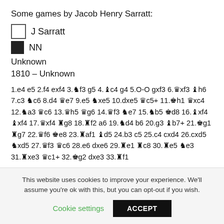Some games by Jacob Henry Sarratt:
J Sarratt
NN
Unknown
1810 – Unknown
1.e4 e5 2.f4 exf4 3.♞f3 g5 4.♝c4 g4 5.O-O gxf3 6.♛xf3 ♝h6 7.c3 ♞c6 8.d4 ♛e7 9.e5 ♞xe5 10.dxe5 ♛c5+ 11.♚h1 ♛xc4 12.♞a3 ♛c6 13.♛h5 ♛g6 14.♛f3 ♞e7 15.♞b5 ♚d8 16.♝xf4 ♝xf4 17.♛xf4 ♜g8 18.♜f2 a6 19.♞d4 b6 20.g3 ♝b7+ 21.♚g1 ♜g7 22.♛f6 ♚e8 23.♜af1 ♝d5 24.b3 c5 25.c4 cxd4 26.cxd5 ♞xd5 27.♛f3 ♛c6 28.e6 dxe6 29.♜e1 ♜c8 30.♜e5 ♞e3 31.♜xe3 ♛c1+ 32.♚g2 dxe3 33.♜f1
This website uses cookies to improve your experience. We'll assume you're ok with this, but you can opt-out if you wish.
Cookie settings
ACCEPT